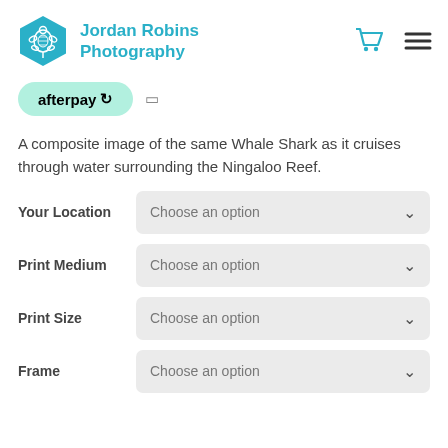[Figure (logo): Jordan Robins Photography logo: teal hexagon with white turtle inside, followed by brand name in teal text]
[Figure (other): Afterpay badge (mint green rounded rectangle) with afterpay logo and info icon]
A composite image of the same Whale Shark as it cruises through water surrounding the Ningaloo Reef.
Your Location — Choose an option (dropdown)
Print Medium — Choose an option (dropdown)
Print Size — Choose an option (dropdown)
Frame — Choose an option (dropdown)